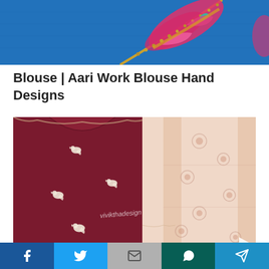[Figure (photo): Close-up of blue silk fabric with colorful embroidery border featuring pink, gold, and teal aari work design]
Blouse | Aari Work Blouse Hand Designs
[Figure (photo): Maroon blouse with white embroidered bird motifs and a peach/cream saree sleeve with floral brocade pattern. Watermark text reads 'vivikthadesign'. A white triangle play button is visible in bottom right corner.]
Social share bar with Facebook, Twitter, Gmail/Mail, WhatsApp, and Telegram/Send buttons